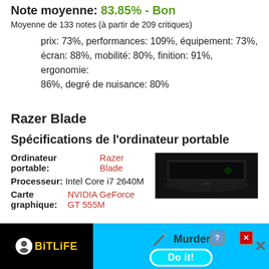Note moyenne: 83.85% - Bon
Moyenne de 133 notes (à partir de 209 critiques)
prix: 73%, performances: 109%, équipement: 73%, écran: 88%, mobilité: 80%, finition: 91%, ergonomie: 86%, degré de nuisance: 80%
Razer Blade
Spécifications de l'ordinateur portable
Ordinateur portable: Razer Blade
Processeur: Intel Core i7 2640M
Carte graphique: NVIDIA GeForce GT 555M
[Figure (photo): Dark laptop (Razer Blade) photographed from the side on a black background]